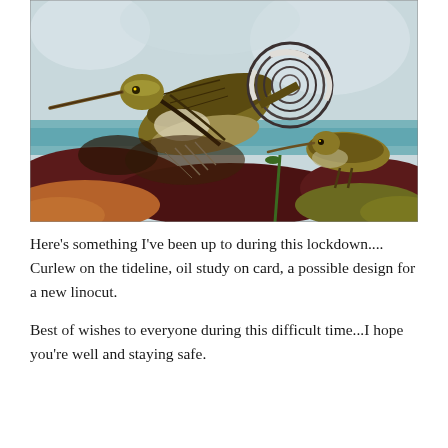[Figure (illustration): A painting of two curlew birds on the tideline. The birds are depicted in olive-brown and dark tones, with one large bird in flight showing detailed wing markings and a long curved beak, and a smaller bird standing on rocks at right. Background shows pale blue sky and teal-colored water, with dark maroon and ochre-brown rocks/seaweed in the foreground.]
Here’s something I’ve been up to during this lockdown.... Curlew on the tideline, oil study on card, a possible design for a new linocut.
Best of wishes to everyone during this difficult time...I hope you’re well and staying safe.